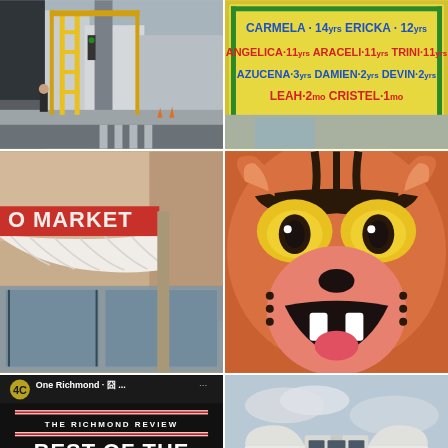[Figure (photo): Street scene with scaffolding, yellow ladder, pedestrian crossing, person walking on sidewalk in urban area]
[Figure (photo): Yellow sign listing children's names and ages: CARMELA 14yrs, ERICKA 12yrs, ANGELICA 11yrs, ARACELI 11yrs, TRINI 11yrs, AZUCENA 3yrs, DAMIEN 2yrs, DEVIN 2yrs, LEAH 2mo, CRISTEL 1mo]
[Figure (photo): Storefront with white awning reading 'O MARKET' with red letters, store windows below]
[Figure (photo): Large cartoon tiger mural on wall, Tom and Jerry style character with angry expression, yellow eyes, orange fur with black stripes]
[Figure (photo): Social media post screenshot: One Richmond page promoting 'THE RICHMOND REVIEW BEST OF THE RICHMOND 2022 SERVICES SURVEY CLOSES SOON HAVE YOUR SAY VOTE' with red and white design on black background]
[Figure (photo): Art Deco white building exterior with curved architectural details, multiple windows with dark frames, overcast sky]